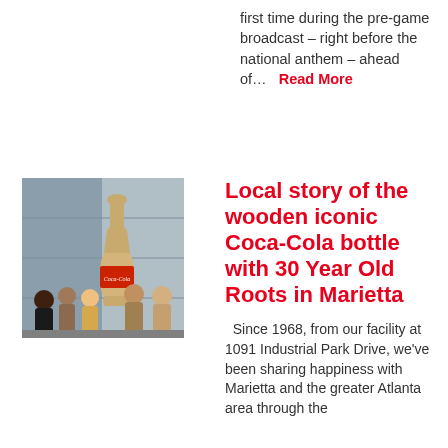first time during the pre-game broadcast – right before the national anthem – ahead of…   Read More
[Figure (photo): Group photo of five people standing in front of a large wooden Coca-Cola bottle replica, outdoors near a building.]
Local story of the wooden iconic Coca-Cola bottle with 30 Year Old Roots in Marietta
Since 1968, from our facility at 1091 Industrial Park Drive, we've been sharing happiness with Marietta and the greater Atlanta area through the